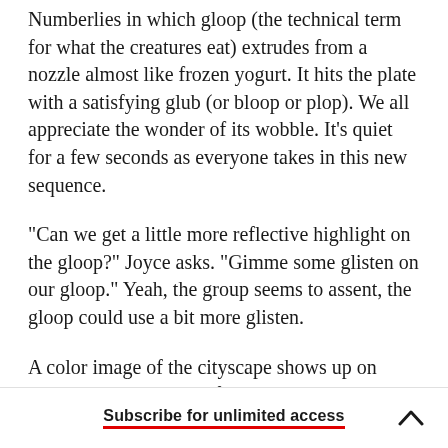Numberlies in which gloop (the technical term for what the creatures eat) extrudes from a nozzle almost like frozen yogurt. It hits the plate with a satisfying glub (or bloop or plop). We all appreciate the wonder of its wobble. It's quiet for a few seconds as everyone takes in this new sequence.
"Can we get a little more reflective highlight on the gloop?" Joyce asks. "Gimme some glisten on our gloop." Yeah, the group seems to assent, the gloop could use a bit more glisten.
A color image of the cityscape shows up on screen with a triangle of pale blue sky at the top left of the image. Fem...
Subscribe for unlimited access